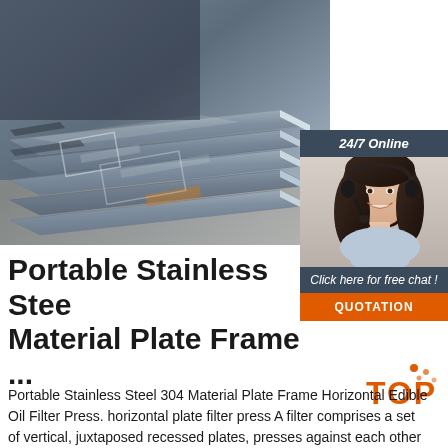[Figure (photo): Stacked stainless steel plates/sheets photographed at an angle, showing metallic grey surfaces with reflective sheen]
[Figure (photo): Customer service representative (woman with headset, smiling) with '24/7 Online' header, 'Click here for free chat!' text, and orange QUOTATION button]
Portable Stainless Steel Material Plate Frame ...
[Figure (logo): Orange TOP logo with decorative dots]
Portable Stainless Steel 304 Material Plate Frame Horizontal Edible Oil Filter Press. horizontal plate filter press A filter comprises a set of vertical, juxtaposed recessed plates, presses against each other by hydraulic jacks at one end of the set.